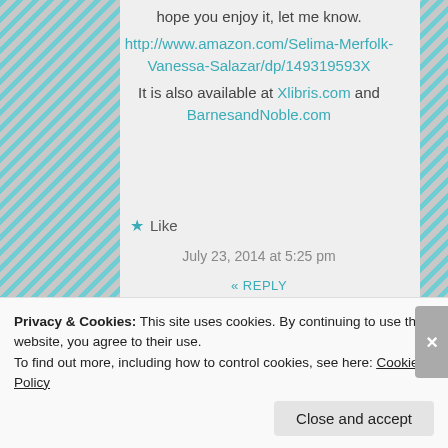hope you enjoy it, let me know. http://www.amazon.com/Selima-Merfolk-Vanessa-Salazar/dp/149319593X It is also available at Xlibris.com and BarnesandNoble.com
Like
July 23, 2014 at 5:25 pm
« REPLY
[Figure (photo): Small circular avatar photo of a person]
triciatallen says:
Privacy & Cookies: This site uses cookies. By continuing to use this website, you agree to their use. To find out more, including how to control cookies, see here: Cookie Policy
Close and accept